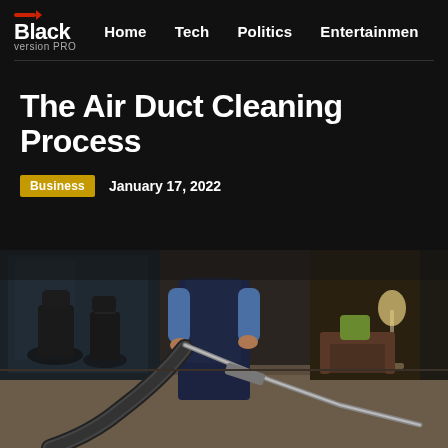Black version PRO — Home   Tech   Politics   Entertainmen
The Air Duct Cleaning Process
Business   January 17, 2022
[Figure (photo): A person in dark clothing using a large hose/cleaning equipment on a carpet in a modern office environment with glass walls and office chairs visible in the background.]